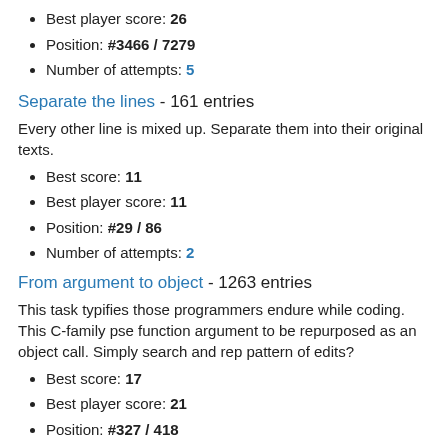Best player score: 26
Position: #3466 / 7279
Number of attempts: 5
Separate the lines - 161 entries
Every other line is mixed up. Separate them into their original texts.
Best score: 11
Best player score: 11
Position: #29 / 86
Number of attempts: 2
From argument to object - 1263 entries
This task typifies those programmers endure while coding. This C-family pse function argument to be repurposed as an object call. Simply search and rep pattern of edits?
Best score: 17
Best player score: 21
Position: #327 / 418
Number of attempts: 1